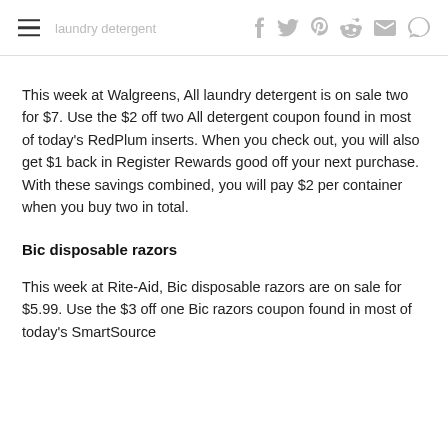laundry detergent
This week at Walgreens, All laundry detergent is on sale two for $7. Use the $2 off two All detergent coupon found in most of today's RedPlum inserts. When you check out, you will also get $1 back in Register Rewards good off your next purchase. With these savings combined, you will pay $2 per container when you buy two in total.
Bic disposable razors
This week at Rite-Aid, Bic disposable razors are on sale for $5.99. Use the $3 off one Bic razors coupon found in most of today's SmartSource